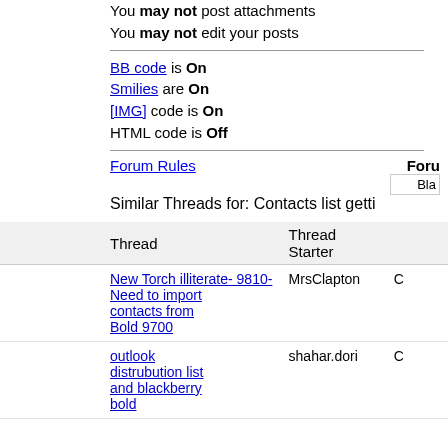You may not post attachments
You may not edit your posts
BB code is On
Smilies are On
[IMG] code is On
HTML code is Off
Forum Rules
Forum
Bla
Similar Threads for: Contacts list getti
| Thread | Thread Starter |
| --- | --- |
| New Torch illiterate- 9810- Need to import contacts from Bold 9700 | MrsClapton |
| outlook distrubution list and blackberry bold | shahar.dori |